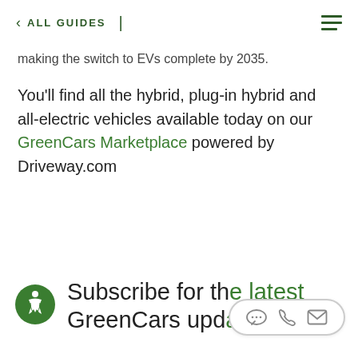< ALL GUIDES |
making the switch to EVs complete by 2035.
You'll find all the hybrid, plug-in hybrid and all-electric vehicles available today on our GreenCars Marketplace powered by Driveway.com
Subscribe for the latest GreenCars updates